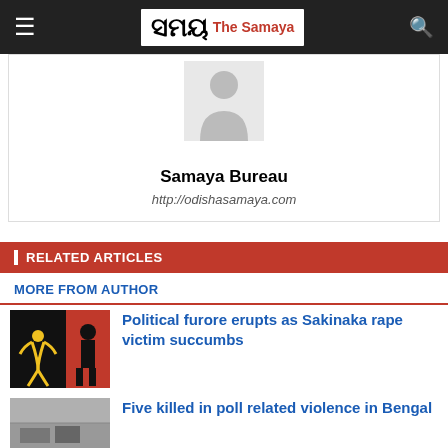The Samaya
[Figure (illustration): Author avatar placeholder silhouette]
Samaya Bureau
http://odishasamaya.com
RELATED ARTICLES
MORE FROM AUTHOR
[Figure (photo): Dark image with silhouettes on black and red background]
Political furore erupts as Sakinaka rape victim succumbs
[Figure (photo): Indoor scene photo with people on floor]
Five killed in poll related violence in Bengal